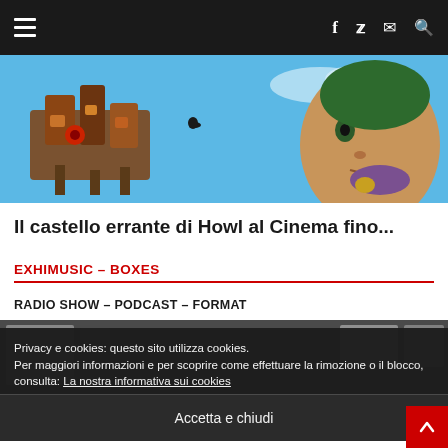Navigation bar with hamburger menu and social icons (f, Twitter, mail, search)
[Figure (photo): Anime screenshot from 'Il castello errante di Howl' (Howl's Moving Castle) showing the walking castle and a character's face in profile, blue sky background]
Il castello errante di Howl al Cinema fino...
EXHIMUSIC – BOXES
RADIO SHOW – PODCAST – FORMAT
[Figure (photo): Dark banner image strip partially visible behind cookie overlay]
Privacy e cookies: questo sito utilizza cookies.
Per maggiori informazioni e per scoprire come effettuare la rimozione o il blocco, consulta: La nostra informativa sui cookies
Accetta e chiudi